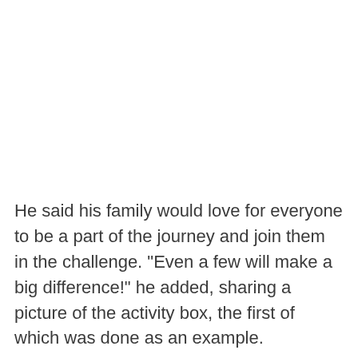He said his family would love for everyone to be a part of the journey and join them in the challenge. "Even a few will make a big difference!" he added, sharing a picture of the activity box, the first of which was done as an example.
"On the next page is her list of challenges/topics and the activity section is for you to fill. The hadith